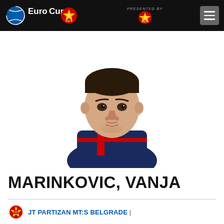EuroCup 7DAYS — PRESENTED BY 7DAYS
[Figure (photo): Headshot photo of basketball player Vanja Marinkovic wearing a dark blue and red jersey, looking directly at camera against white background]
MARINKOVIC, VANJA
JT PARTIZAN MT:S BELGRADE |